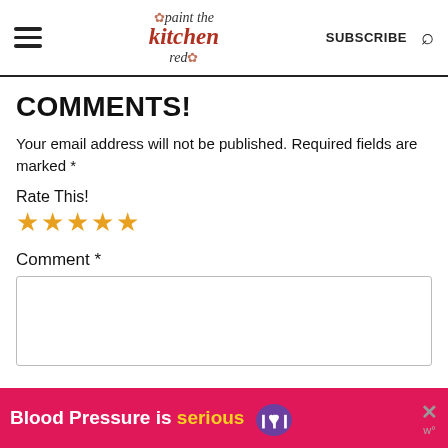paint the kitchen red | SUBSCRIBE
COMMENTS!
Your email address will not be published. Required fields are marked *
Rate This!
[Figure (other): Five empty star rating icons in orange/gold color]
Comment *
[Figure (other): Comment text input box (empty textarea)]
[Figure (other): Ad banner: Blood Pressure is serious with purple heart icon and close button]